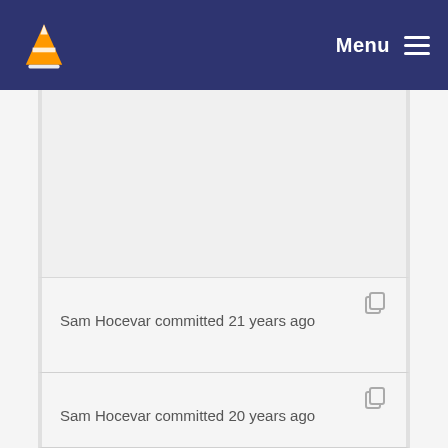VLC Menu
[Figure (screenshot): Empty content panel area]
Sam Hocevar committed 21 years ago
Sam Hocevar committed 20 years ago